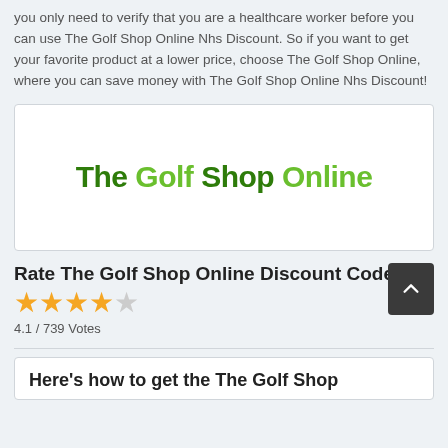you only need to verify that you are a healthcare worker before you can use The Golf Shop Online Nhs Discount. So if you want to get your favorite product at a lower price, choose The Golf Shop Online, where you can save money with The Golf Shop Online Nhs Discount!
[Figure (logo): The Golf Shop Online logo in green text on white background]
Rate The Golf Shop Online Discount Codes
4.1 / 739 Votes
Here's how to get the The Golf Shop